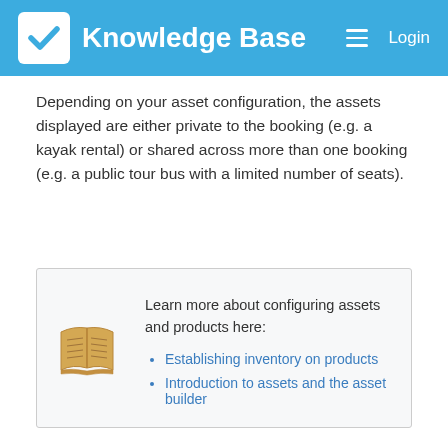Knowledge Base  Login
Depending on your asset configuration, the assets displayed are either private to the booking (e.g. a kayak rental) or shared across more than one booking (e.g. a public tour bus with a limited number of seats).
Learn more about configuring assets and products here:
Establishing inventory on products
Introduction to assets and the asset builder